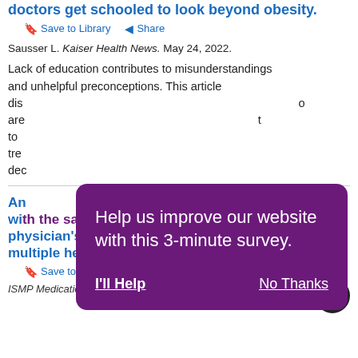doctors get schooled to look beyond obesity.
Save to Library   Share
Sausser L. Kaiser Health News. May 24, 2022.
Lack of education contributes to misunderstandings and unhelpful preconceptions. This article discusses... to are... t to tre... deo...
[Figure (other): Purple modal overlay with text: Help us improve our website with this 3-minute survey. Buttons: I'll Help and No Thanks]
An... with the safety of an error: Learning from a physician's homicide trial and the firing of multiple healthcare workers.
Save to Library   Share
ISMP Medication Safety Alert! Acute care edition.